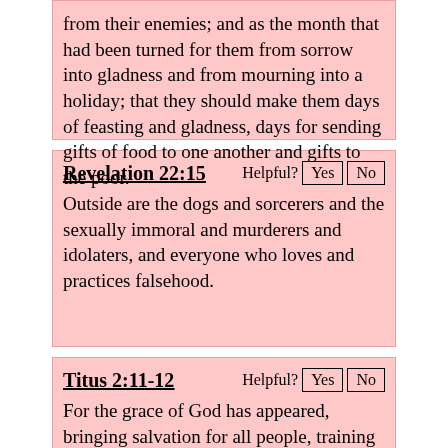from their enemies; and as the month that had been turned for them from sorrow into gladness and from mourning into a holiday; that they should make them days of feasting and gladness, days for sending gifts of food to one another and gifts to the poor.
Revelation 22:15
Outside are the dogs and sorcerers and the sexually immoral and murderers and idolaters, and everyone who loves and practices falsehood.
Titus 2:11-12
For the grace of God has appeared, bringing salvation for all people, training